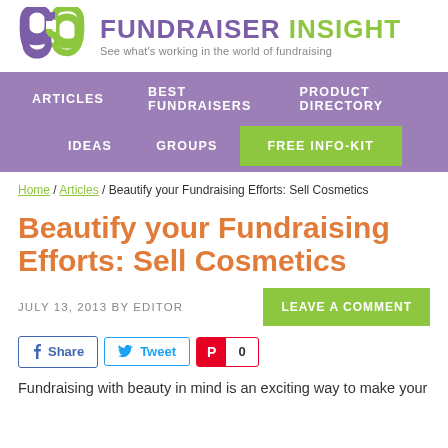[Figure (logo): Fundraiser Insight logo with interlocking ribbon symbol in purple and green, followed by bold text 'FUNDRAISER INSIGHT' and tagline 'See what's working in the world of fundraising']
ARTICLES   BEST FUNDRAISERS   PRODUCT DIRECTORY   IDEAS   GROUPS   FREE INFO-KIT
Home / Articles / Beautify your Fundraising Efforts: Sell Cosmetics
Beautify your Fundraising Efforts: Sell Cosmetics
JULY 13, 2013 BY EDITOR
Share   Tweet   0
Fundraising with beauty in mind is an exciting way to make your